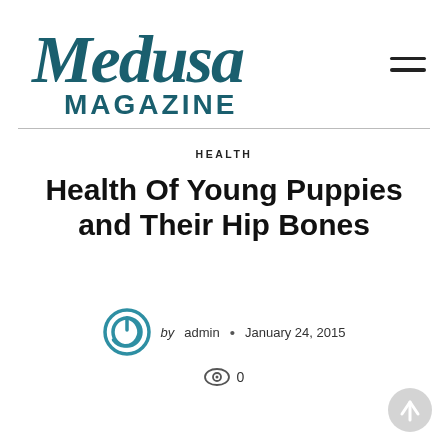[Figure (logo): Medusa Magazine logo — stylized script 'Medusa' in dark teal above bold sans-serif 'MAGAZINE']
HEALTH
Health Of Young Puppies and Their Hip Bones
by admin • January 24, 2015
0